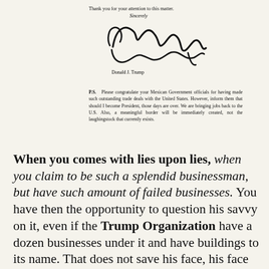Thank you for your attention to this matter.
[Figure (illustration): Handwritten signature reading 'Sincerely, Donald J. Trump' with cursive signature above the printed name.]
P.S.   Please congratulate your Mexican Government officials for having made such outstanding trade deals with the United States. However, inform them that should I become President, those days are over. We are bringing jobs back to the U.S. Also, a meaningful border will be immediately created, not the laughingstock that currently exists.
When you comes with lies upon lies, when you claim to be such a splendid businessman, but have such amount of failed businesses. You have then the opportunity to question his savvy on it, even if the Trump Organization have a dozen businesses under it and have buildings to its name. That does not save his face, his face that lies more then it speaks the truth.